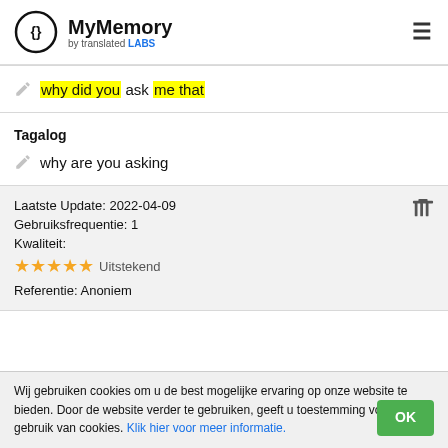MyMemory by translated LABS
why did you ask me that
Tagalog
why are you asking
Laatste Update: 2022-04-09
Gebruiksfrequentie: 1
Kwaliteit:
★★★★★ Uitstekend
Referentie: Anoniem
Wij gebruiken cookies om u de best mogelijke ervaring op onze website te bieden. Door de website verder te gebruiken, geeft u toestemming voor het gebruik van cookies. Klik hier voor meer informatie.